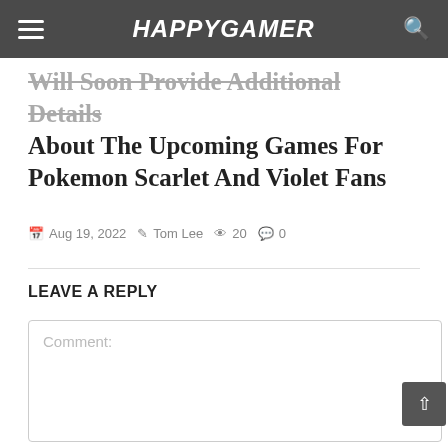HAPPYGAMER
Will Soon Provide Additional Details About The Upcoming Games For Pokemon Scarlet And Violet Fans
Aug 19, 2022  Tom Lee  20  0
LEAVE A REPLY
Comment: